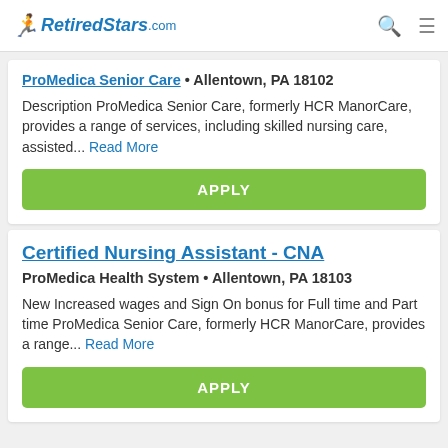RetiredStars.com
ProMedica Senior Care • Allentown, PA 18102
Description ProMedica Senior Care, formerly HCR ManorCare, provides a range of services, including skilled nursing care, assisted... Read More
APPLY
Certified Nursing Assistant - CNA
ProMedica Health System • Allentown, PA 18103
New Increased wages and Sign On bonus for Full time and Part time ProMedica Senior Care, formerly HCR ManorCare, provides a range... Read More
APPLY